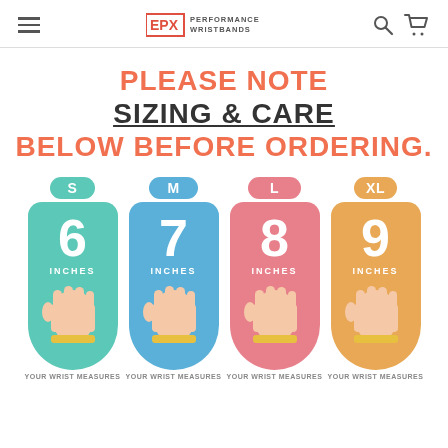EPX Performance Wristbands
PLEASE NOTE SIZING & CARE BELOW BEFORE ORDERING.
[Figure (infographic): Wristband sizing chart showing four sizes: S=6 inches, M=7 inches, L=8 inches, XL=9 inches, each with a colored card, hand illustration, and wrist measurement label.]